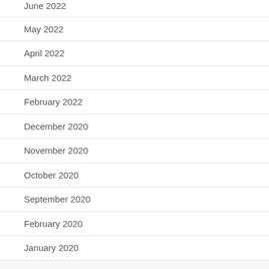June 2022
May 2022
April 2022
March 2022
February 2022
December 2020
November 2020
October 2020
September 2020
February 2020
January 2020